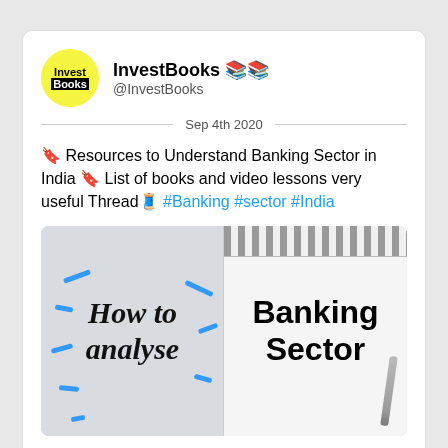InvestBooks 📚
@InvestBooks
Sep 4th 2020
📚 Resources to Understand Banking Sector in India 📚 List of books and video lessons very useful Thread🧵 #Banking #sector #India
[Figure (photo): Photo showing two panels: left panel with cursive handwritten text 'How to analyse' on light background with blue decorative dashes; right panel showing a spiral notebook with bold printed text 'Banking Sector']
Read 4 tweets